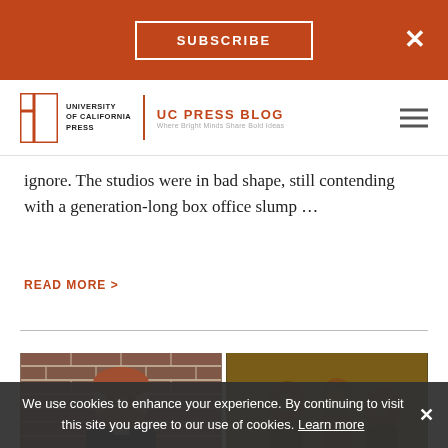SUBSCRIBE
[Figure (logo): University of California Press logo with UC Press Blog title and tagline 'Where Bright Minds Share Bold Ideas']
ignore. The studios were in bad shape, still contending with a generation-long box office slump …
READ MORE >
[Figure (photo): Two side-by-side photos: left shows a bearded man against a brick wall, right shows a group scene in sepia/golden tones]
We use cookies to enhance your experience. By continuing to visit this site you agree to our use of cookies. Learn more